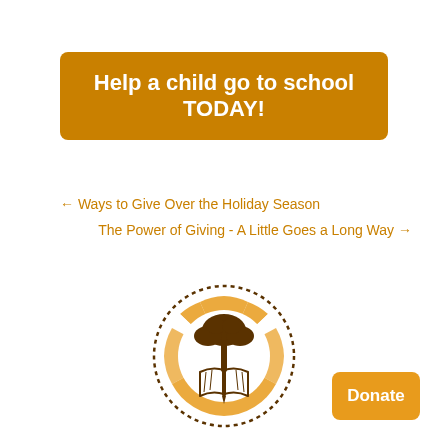Help a child go to school TODAY!
← Ways to Give Over the Holiday Season
The Power of Giving - A Little Goes a Long Way →
[Figure (logo): Circular logo with dotted border, orange and brown color scheme featuring an African tree above an open book with a pencil, radiating arc segments in orange]
Donate